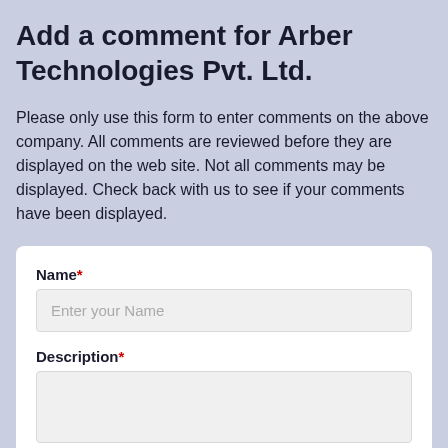Add a comment for Arber Technologies Pvt. Ltd.
Please only use this form to enter comments on the above company. All comments are reviewed before they are displayed on the web site. Not all comments may be displayed. Check back with us to see if your comments have been displayed.
Name*
Enter your Name
Description*